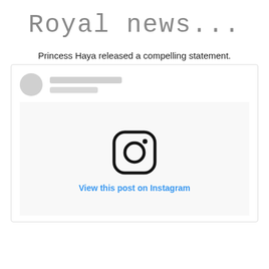Royal news...
Princess Haya released a compelling statement.
[Figure (screenshot): Embedded Instagram post placeholder with blurred profile avatar and name lines, Instagram camera logo icon in center, and 'View this post on Instagram' link below.]